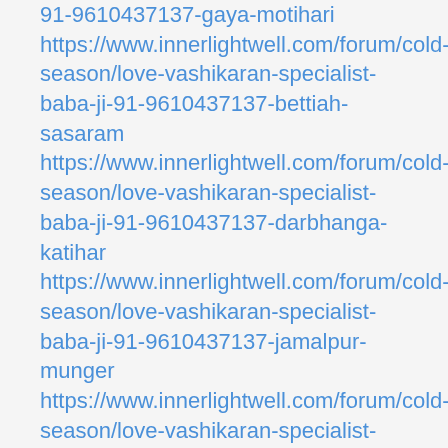91-9610437137-gaya-motihari https://www.innerlightwell.com/forum/cold-season/love-vashikaran-specialist-baba-ji-91-9610437137-bettiah-sasaram https://www.innerlightwell.com/forum/cold-season/love-vashikaran-specialist-baba-ji-91-9610437137-darbhanga-katihar https://www.innerlightwell.com/forum/cold-season/love-vashikaran-specialist-baba-ji-91-9610437137-jamalpur-munger https://www.innerlightwell.com/forum/cold-season/love-vashikaran-specialist-baba-ji-91-9610437137-saharsa-ranchi https://www.innerlightwell.com/forum/cold-season/love-vashikaran-specialist-baba-ji-91-9610437137-aurangabad-buxar https://www.innerlightwell.com/forum/cold-season/love-vashikaran-specialist-baba-ji-91-9610437137-begusarai-bakhtiarpur https://www.innerlightwell.com/forum/cold-season/love-vashikaran-specialist-baba-ji-91-9610437137-sonpur-nawada